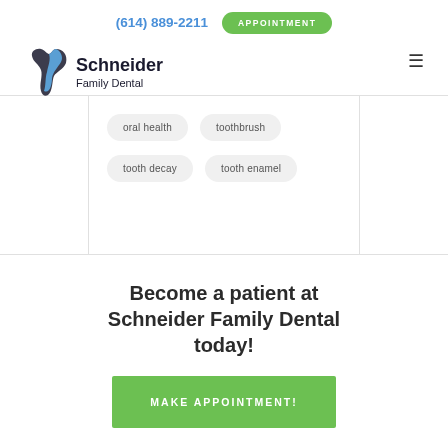(614) 889-2211  APPOINTMENT
[Figure (logo): Schneider Family Dental logo with stylized tooth/S graphic]
oral health  toothbrush  tooth decay  tooth enamel
Become a patient at Schneider Family Dental today!
MAKE APPOINTMENT!